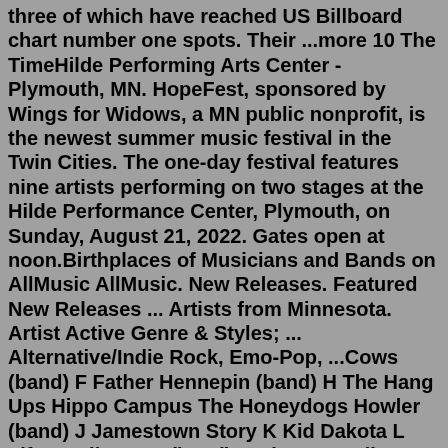three of which have reached US Billboard chart number one spots. Their ...more 10 The TimeHilde Performing Arts Center - Plymouth, MN. HopeFest, sponsored by Wings for Widows, a MN public nonprofit, is the newest summer music festival in the Twin Cities. The one-day festival features nine artists performing on two stages at the Hilde Performance Center, Plymouth, on Sunday, August 21, 2022. Gates open at noon.Birthplaces of Musicians and Bands on AllMusic AllMusic. New Releases. Featured New Releases ... Artists from Minnesota. Artist Active Genre & Styles; ... Alternative/Indie Rock, Emo-Pop, ...Cows (band) F Father Hennepin (band) H The Hang Ups Hippo Campus The Honeydogs Howler (band) J Jamestown Story K Kid Dakota L Lifter Puller Low (band) M The Magnolias (band) Mel Gibson and the Pants Motion City Soundtrack N Night Moves (band) Now, Now O On An On One for the Team P Party of One (band) Peter Wolf Crier The Plastic Constellations R Hilde Performing Arts Center - Plymouth, MN. HopeFest, sponsored by